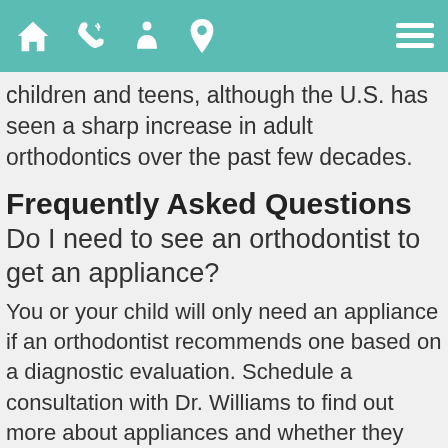Navigation bar with home, phone, doctor, location, and menu icons
children and teens, although the U.S. has seen a sharp increase in adult orthodontics over the past few decades.
Frequently Asked Questions
Do I need to see an orthodontist to get an appliance?
You or your child will only need an appliance if an orthodontist recommends one based on a diagnostic evaluation. Schedule a consultation with Dr. Williams to find out more about appliances and whether they can help you achieve your cosmetic and health goals.